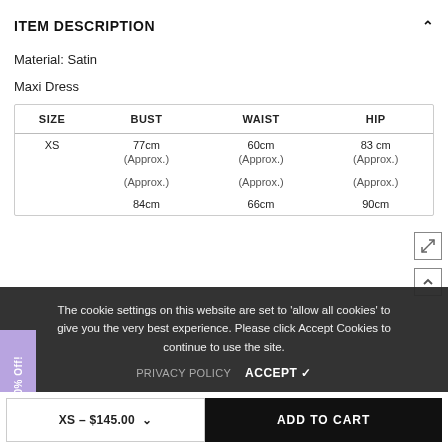ITEM DESCRIPTION
Material: Satin
Maxi Dress
| SIZE | BUST | WAIST | HIP |
| --- | --- | --- | --- |
| XS | 77cm
(Approx.) | 60cm
(Approx.) | 83 cm
(Approx.) |
|  | (Approx.) | (Approx.) | (Approx.) |
|  | 84cm | 66cm | 90cm |
The cookie settings on this website are set to 'allow all cookies' to give you the very best experience. Please click Accept Cookies to continue to use the site.
PRIVACY POLICY    ACCEPT ✓
Get 10% Off!
XS - $145.00
ADD TO CART